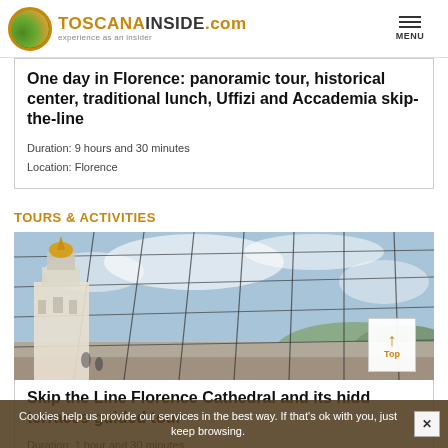TOSCANAINSIDE.com experience as an insider MENU
One day in Florence: panoramic tour, historical center, traditional lunch, Uffizi and Accademia skip-the-line
Duration: 9 hours and 30 minutes
Location: Florence
TOURS & ACTIVITIES
[Figure (photo): Photo of Florence Cathedral viewed through a glass grid structure, with ornate tower visible and sky in background]
Skip the Line Florence Cathedral and its hidden terraces guided tour
Duration: 1 hour and 30 minutes
Location: Florence
Cookies help us provide our services in the best way. If that's ok with you, just keep browsing.